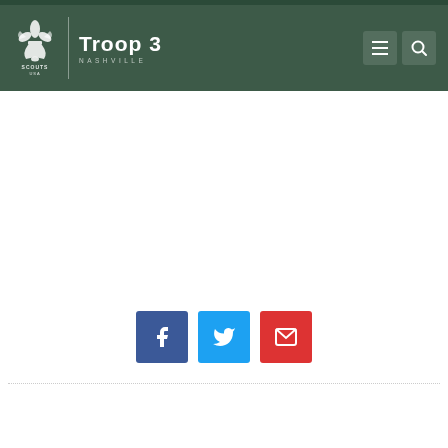[Figure (logo): Scouts USA Troop 3 Nashville website header with dark green background, scouts fleur-de-lis logo, Troop 3 NASHVILLE text, hamburger menu icon and search icon]
[Figure (infographic): Three social share buttons: Facebook (dark blue), Twitter (light blue), Email (red), each with white icons]